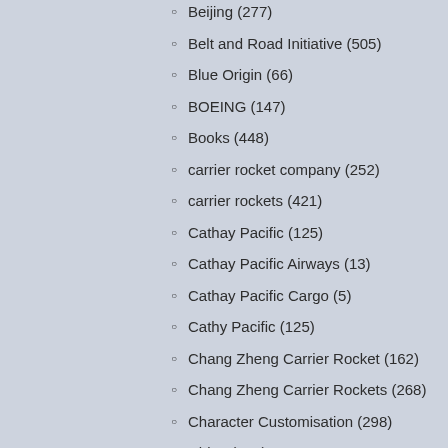Beijing (277)
Belt and Road Initiative (505)
Blue Origin (66)
BOEING (147)
Books (448)
carrier rocket company (252)
carrier rockets (421)
Cathay Pacific (125)
Cathay Pacific Airways (13)
Cathay Pacific Cargo (5)
Cathy Pacific (125)
Chang Zheng Carrier Rocket (162)
Chang Zheng Carrier Rockets (268)
Character Customisation (298)
China (692)
China – People's Republic of China (260)